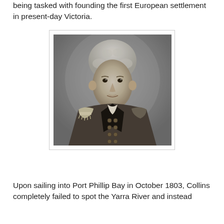being tasked with founding the first European settlement in present-day Victoria.
[Figure (photo): Black and white portrait of a man in military uniform with epaulettes, wearing a dark coat with buttons. The subject has light curly hair and a serious expression.]
Upon sailing into Port Phillip Bay in October 1803, Collins completely failed to spot the Yarra River and instead attempted to settle at Sullivan Bay in a tried-of-being...